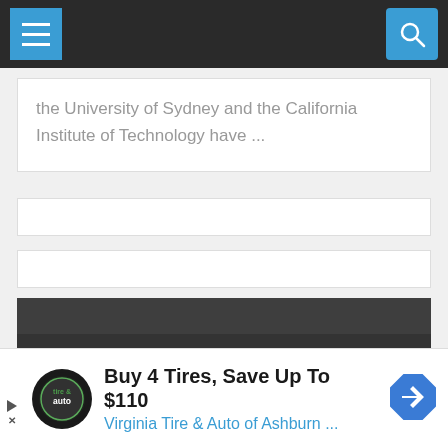[Figure (screenshot): Mobile navigation bar with hamburger menu icon on left and search (magnifying glass) icon on right, dark background]
the University of Sydney and the California Institute of Technology have ...
[Figure (screenshot): Empty white card/content placeholder]
[Figure (screenshot): Empty white card/content placeholder]
Geology In © 2022. All Rights Reserved.
[Figure (screenshot): Chevron/arrow down button]
[Figure (screenshot): Advertisement: Buy 4 Tires, Save Up To $110 - Virginia Tire & Auto of Ashburn ...]